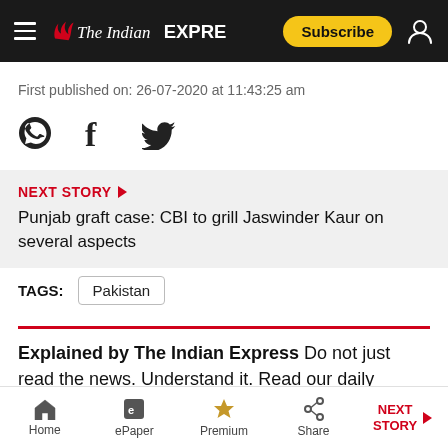The Indian Express — Subscribe
First published on: 26-07-2020 at 11:43:25 am
[Figure (infographic): Social media share icons: WhatsApp, Facebook, Twitter]
NEXT STORY ▶ Punjab graft case: CBI to grill Jaswinder Kaur on several aspects
TAGS: Pakistan
Explained by The Indian Express Do not just read the news. Understand it. Read our daily explainers
Home | ePaper | Premium | Share | NEXT STORY →